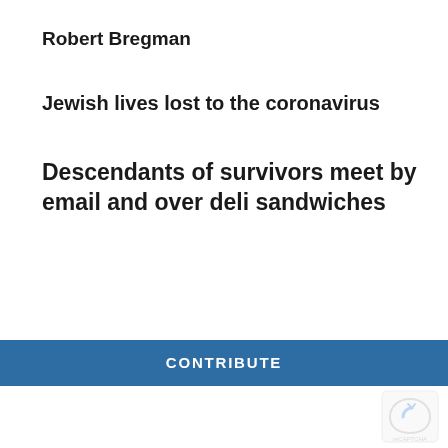Robert Bregman
Jewish lives lost to the coronavirus
Descendants of survivors meet by email and over deli sandwiches
WASHINGTON JEWISH WEEK IS HERE FOR YOU
Your voluntary contribution supports our efforts to deliver content that engages and helps strengthen the Jewish community in the DMV.
CONTRIBUTE